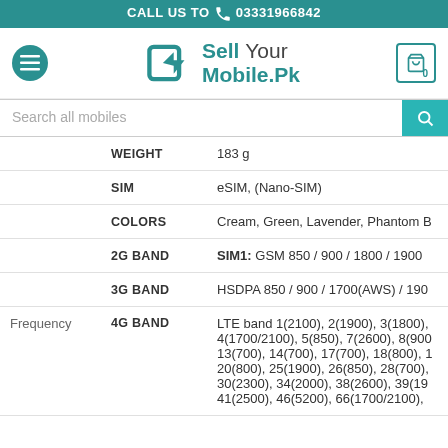CALL US TODAY 03331966842
[Figure (logo): SellYourMobile.Pk logo with hamburger menu and cart icon]
Search all mobiles
| Category | Spec | Value |
| --- | --- | --- |
|  | WEIGHT | 183 g |
|  | SIM | eSIM, (Nano-SIM) |
|  | COLORS | Cream, Green, Lavender, Phantom B |
|  | 2G BAND | SIM1: GSM 850 / 900 / 1800 / 1900 |
|  | 3G BAND | HSDPA 850 / 900 / 1700(AWS) / 190 |
| Frequency | 4G BAND | LTE band 1(2100), 2(1900), 3(1800), 4(1700/2100), 5(850), 7(2600), 8(900), 13(700), 14(700), 17(700), 18(800), 20(800), 25(1900), 26(850), 28(700), 30(2300), 34(2000), 38(2600), 39(1900), 41(2500), 46(5200), 66(1700/2100), |